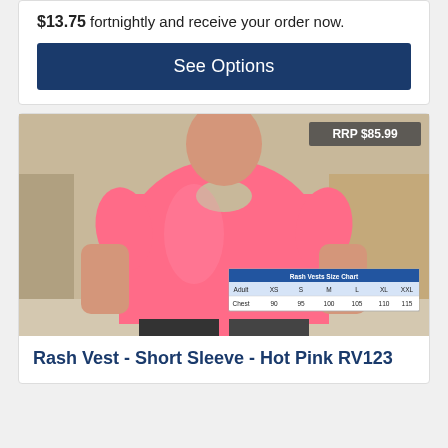$13.75 fortnightly and receive your order now.
See Options
[Figure (photo): Person wearing a hot pink short-sleeve rash vest. A size chart overlay is visible in the bottom right corner of the image. RRP $85.99 badge in top right corner.]
Rash Vest - Short Sleeve - Hot Pink RV123